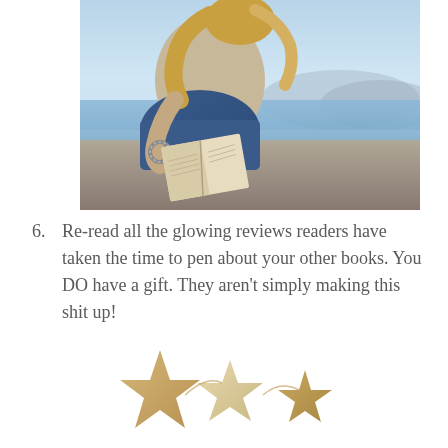[Figure (photo): A woman sitting outdoors by a body of water, reading an open book, wearing jeans and bracelets.]
6. Re-read all the glowing reviews readers have taken the time to pen about your other books. You DO have a gift. They aren't simply making this shit up!
[Figure (photo): Wooden decorative stars of various sizes arranged together.]